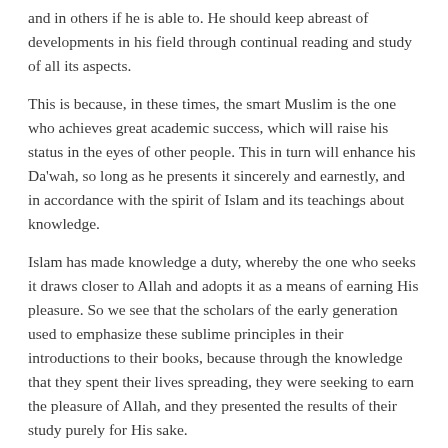and in others if he is able to. He should keep abreast of developments in his field through continual reading and study of all its aspects.
This is because, in these times, the smart Muslim is the one who achieves great academic success, which will raise his status in the eyes of other people. This in turn will enhance his Da'wah, so long as he presents it sincerely and earnestly, and in accordance with the spirit of Islam and its teachings about knowledge.
Islam has made knowledge a duty, whereby the one who seeks it draws closer to Allah and adopts it as a means of earning His pleasure. So we see that the scholars of the early generation used to emphasize these sublime principles in their introductions to their books, because through the knowledge that they spent their lives spreading, they were seeking to earn the pleasure of Allah, and they presented the results of their study purely for His sake.